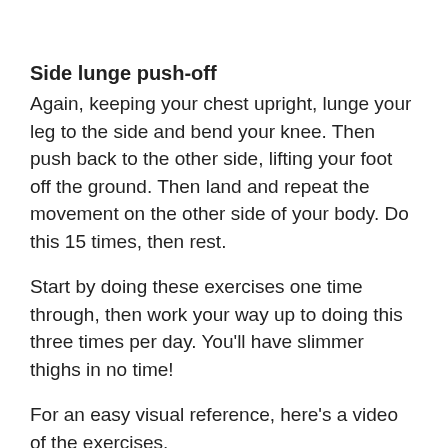Side lunge push-off
Again, keeping your chest upright, lunge your leg to the side and bend your knee. Then push back to the other side, lifting your foot off the ground. Then land and repeat the movement on the other side of your body. Do this 15 times, then rest.
Start by doing these exercises one time through, then work your way up to doing this three times per day. You’ll have slimmer thighs in no time!
For an easy visual reference, here’s a video of the exercises.